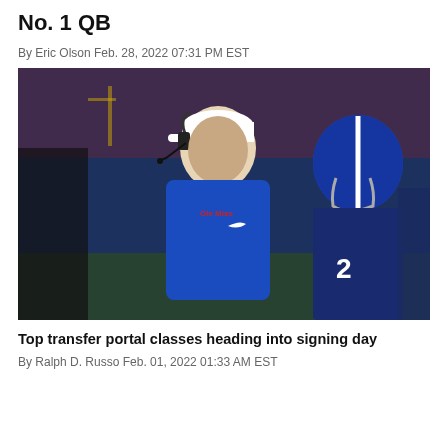No. 1 QB
By Eric Olson Feb. 28, 2022 07:31 PM EST
[Figure (photo): Football coach in blue Ole Miss hoodie and white visor with headset, standing on sideline near players in blue Ole Miss helmets and jerseys]
Top transfer portal classes heading into signing day
By Ralph D. Russo Feb. 01, 2022 01:33 AM EST